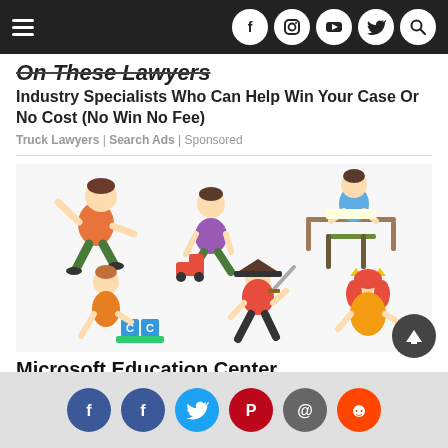Navigation bar with menu and social icons (Facebook, Instagram, YouTube, Twitter, Search)
On These Lawyers
Industry Specialists Who Can Help Win Your Case Or No Cost (No Win No Fee)
Truck Lawyers | Search Ads | Sponsored
[Figure (illustration): Six cartoon children in various poses: one dancing, one playing with a toy truck, one sitting at a desk writing, one holding letter blocks, one dressed as a pirate with a sword, one wearing a crown]
Microsoft Education Center
pruig.com | Sponsored
Social share icons: Facebook, Facebook, Twitter, Pinterest, Email, Reddit